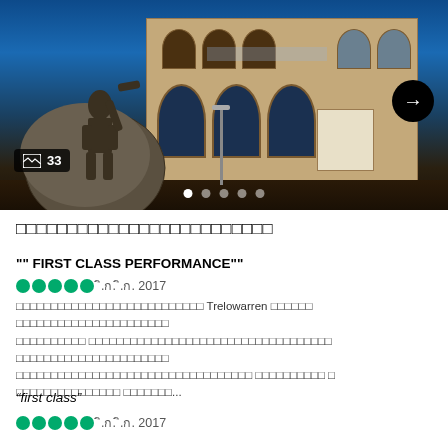[Figure (photo): Night photo of a stone building (hall for Cornwall) with illuminated arched windows and a large spherical sculpture/statue in the foreground left, against a blue night sky. A black circle arrow-right navigation button is visible top-right. An image counter badge showing a photo icon and '33' is visible bottom-left. Five carousel dots at the bottom.]
□□□□□□□□□□□□□□□□□□□□□□□□□
"" FIRST CLASS PERFORMANCE""
●●●●●  ก.ก. ก.ก. 2017
□□□□□□□□□□□□□□□□□□□□□□□□□□□ Trelowarren □□□□□□ □□□□□□□□□□□□□□□□□□□□□□ □□□□□□□□□□□□□□□□□□□□□□□□□□□□□□□□□□□□ □□□□□□□□□□□□□□□□□□□□□□□□□□□ □ □□□□□□□□□□□□□□□ □□□□□□...
“first class”
●●●●●  ก.ก. ก.ก. 2017